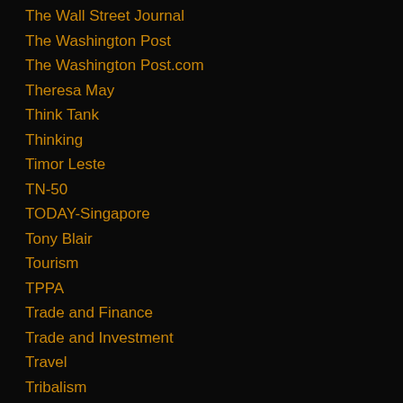The Wall Street Journal
The Washington Post
The Washington Post.com
Theresa May
Think Tank
Thinking
Timor Leste
TN-50
TODAY-Singapore
Tony Blair
Tourism
TPPA
Trade and Finance
Trade and Investment
Travel
Tribalism
tribute
Trudeau
True Grit
Trump Impeachment
Trumpianism